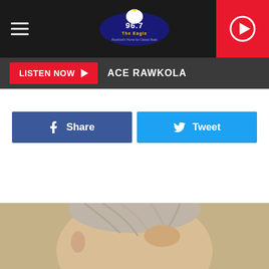96.7 The Eagle — ACE RAWKOLA
LISTEN NOW  ACE RAWKOLA
[Figure (screenshot): Facebook Share button (dark blue) and Twitter Tweet button (light blue)]
[Figure (photo): Close-up photo of an older man with grey hair, hand raised near face, partially visible from top of frame]